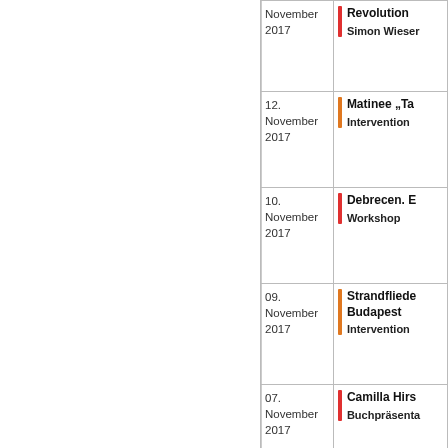| Date | Event |
| --- | --- |
| November 2017 | Revolution... / Simon Wieser |
| 12. November 2017 | Matinee „Ta... / Intervention |
| 10. November 2017 | Debrecen. E... / Workshop |
| 09. November 2017 | Strandfliede... Budapest / Intervention |
| 07. November 2017 | Camilla Hirs... / Buchpräsenta... |
| 24. Oktober 2017 | Pavel Balou... Dynamic of 1942 / VWI invites/go... |
| 23. Oktober | Präsentatio... |